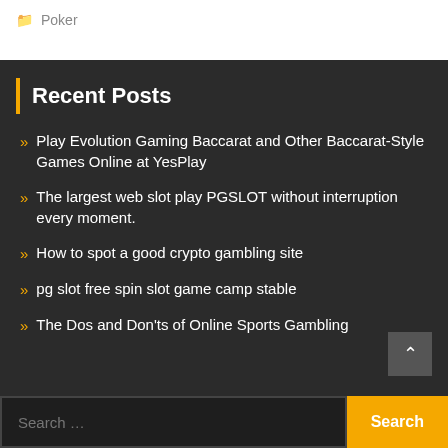Poker
Recent Posts
Play Evolution Gaming Baccarat and Other Baccarat-Style Games Online at YesPlay
The largest web slot play PGSLOT without interruption every moment.
How to spot a good crypto gambling site
pg slot free spin slot game camp stable
The Dos and Don'ts of Online Sports Gambling